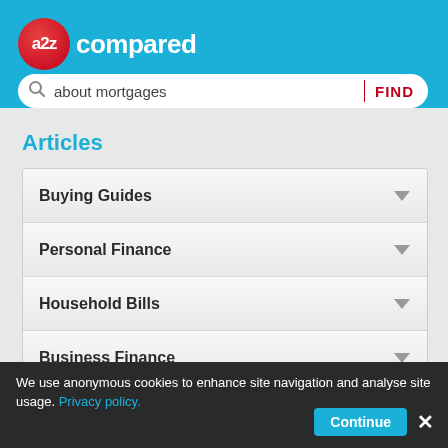[Figure (logo): a2z compared logo with red circle and white text on blue header background]
about mortgages
Articles
Buying Guides
Personal Finance
Household Bills
Business Finance
Travel Holidays
Motoring
We use anonymous cookies to enhance site navigation and analyse site usage. Privacy policy.